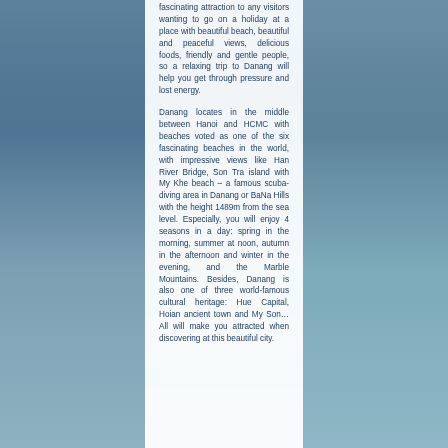fascinating attraction to any visitors wanting to go on a holiday at a place with beautiful beach, beautiful and peaceful views, delicious foods, friendly and gentle people, so a relaxing trip to Danang will help you get through pressure and lost energy.
Danang locates in the middle between Hanoi and HCMC with beaches voted as one of the six fascinating beaches in the world, with impressive views like Han River Bridge, Son Tra island with My Khe beach – a famous scuba-diving area in Danang or BaNa Hills with the height 1489m from the sea level. Especially, you will enjoy 4 seasons in a day: spring in the morning, summer at noon, autumn in the afternoon and winter in the evening, and the Marble Mountains. Besides, Danang is also one of three world-famous cultural heritage: Hue Capital, Hoian ancient town and My Son… All will make you attracted when discovering at this beautiful city.